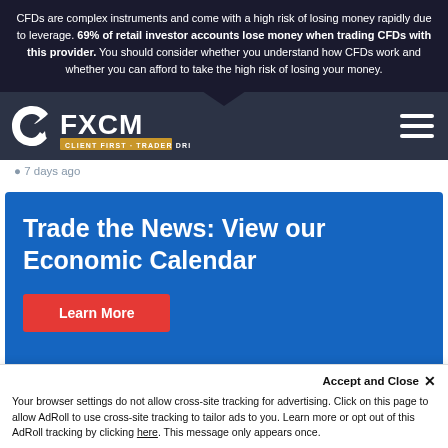CFDs are complex instruments and come with a high risk of losing money rapidly due to leverage. 69% of retail investor accounts lose money when trading CFDs with this provider. You should consider whether you understand how CFDs work and whether you can afford to take the high risk of losing your money.
[Figure (logo): FXCM logo with tagline CLIENT FIRST · TRADER DRIVEN]
7 days ago
Trade the News: View our Economic Calendar
Learn More
Accept and Close ✕
Your browser settings do not allow cross-site tracking for advertising. Click on this page to allow AdRoll to use cross-site tracking to tailor ads to you. Learn more or opt out of this AdRoll tracking by clicking here. This message only appears once.